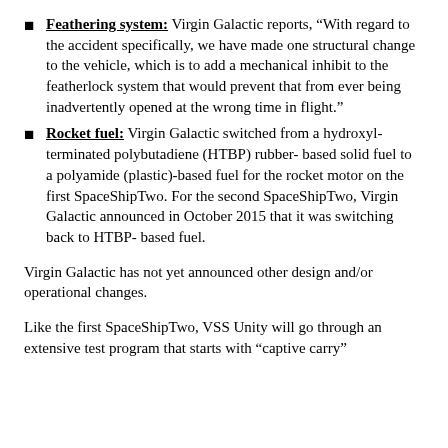Feathering system: Virgin Galactic reports, “With regard to the accident specifically, we have made one structural change to the vehicle, which is to add a mechanical inhibit to the featherlock system that would prevent that from ever being inadvertently opened at the wrong time in flight.”
Rocket fuel: Virgin Galactic switched from a hydroxyl-terminated polybutadiene (HTBP) rubber-based solid fuel to a polyamide (plastic)-based fuel for the rocket motor on the first SpaceShipTwo. For the second SpaceShipTwo, Virgin Galactic announced in October 2015 that it was switching back to HTBP-based fuel.
Virgin Galactic has not yet announced other design and/or operational changes.
Like the first SpaceShipTwo, VSS Unity will go through an extensive test program that starts with “captive carry”